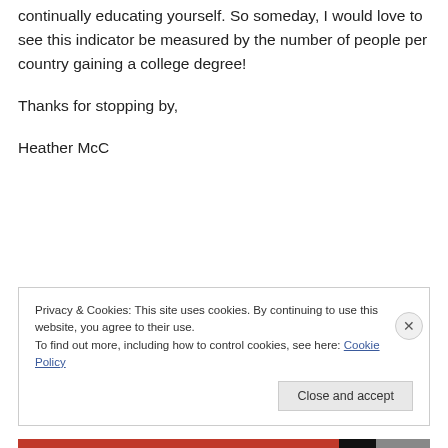continually educating yourself. So someday, I would love to see this indicator be measured by the number of people per country gaining a college degree!
Thanks for stopping by,
Heather McC
Privacy & Cookies: This site uses cookies. By continuing to use this website, you agree to their use.
To find out more, including how to control cookies, see here: Cookie Policy
Close and accept